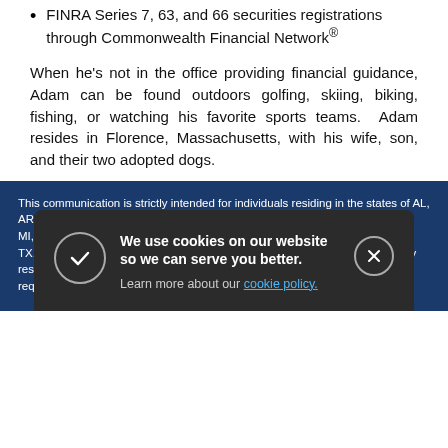FINRA Series 7, 63, and 66 securities registrations through Commonwealth Financial Network®
When he's not in the office providing financial guidance, Adam can be found outdoors golfing, skiing, biking, fishing, or watching his favorite sports teams. Adam resides in Florence, Massachusetts, with his wife, son, and their two adopted dogs.
This communication is strictly intended for individuals residing in the states of AL, AR, AZ, CA, CO, CT, DC, DE, FL, GA, HI, IA, ID, IL, IN, KY, LA, MA, MD, ME, MI, MN, MO, MT, NC, NH, NJ, NM, NV, NY, OH, OR, PA, PR, RI, SC, SD, TN, TX, UT, VA, VI, VT, WA, WI, WY. No offers may be made or accepted from any resident outside these states due to various state regulations and registration requirements regarding investment products and services. [FINRA and NELW text partially obscured] ...ed by a... ...ble loss... ...thr... Reg... Priv...
We use cookies on our website so we can serve you better. Learn more about our cookie policy.